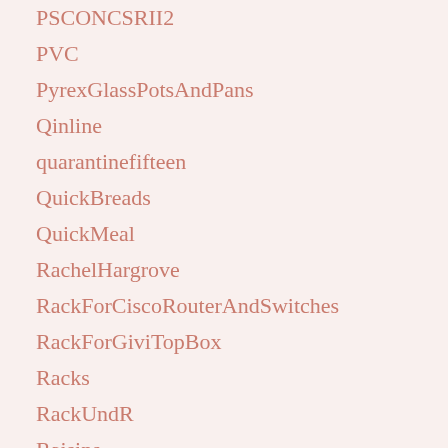PSCONCSRII2
PVC
PyrexGlassPotsAndPans
Qinline
quarantinefifteen
QuickBreads
QuickMeal
RachelHargrove
RackForCiscoRouterAndSwitches
RackForGiviTopBox
Racks
RackUndR
Raisins
RealTalk
Rebecca